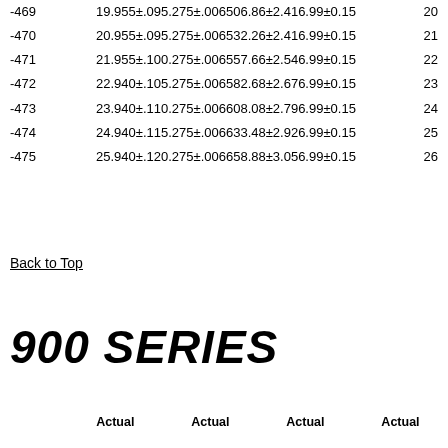|  |  |  |
| --- | --- | --- |
| -469 | 19.955±.095.275±.006506.86±2.416.99±0.15 | 20 |
| -470 | 20.955±.095.275±.006532.26±2.416.99±0.15 | 21 |
| -471 | 21.955±.100.275±.006557.66±2.546.99±0.15 | 22 |
| -472 | 22.940±.105.275±.006582.68±2.676.99±0.15 | 23 |
| -473 | 23.940±.110.275±.006608.08±2.796.99±0.15 | 24 |
| -474 | 24.940±.115.275±.006633.48±2.926.99±0.15 | 25 |
| -475 | 25.940±.120.275±.006658.88±3.056.99±0.15 | 26 |
Back to Top
900 SERIES
|  | Actual | Actual | Actual | Actual |
| --- | --- | --- | --- | --- |